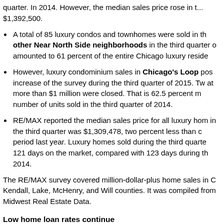quarter. In 2014. However, the median sales price rose in... $1,392,500.
A total of 85 luxury condos and townhomes were sold in th... other Near North Side neighborhoods in the third quarter o... amounted to 61 percent of the entire Chicago luxury reside...
However, luxury condominium sales in Chicago's Loop pos... increase of the survey during the third quarter of 2015. Tw... at more than $1 million were closed. That is 62.5 percent m... number of units sold in the third quarter of 2014.
RE/MAX reported the median sales price for all luxury hom... in the third quarter was $1,309,478, two percent less than c... period last year. Luxury homes sold during the third quarte... 121 days on the market, compared with 123 days during th... 2014.
The RE/MAX survey covered million-dollar-plus home sales in Co... Kendall, Lake, McHenry, and Will counties. It was compiled from... Midwest Real Estate Data.
Low home loan rates continue
Based on... 30... a... fer... home... e... rate... was... 3.76...